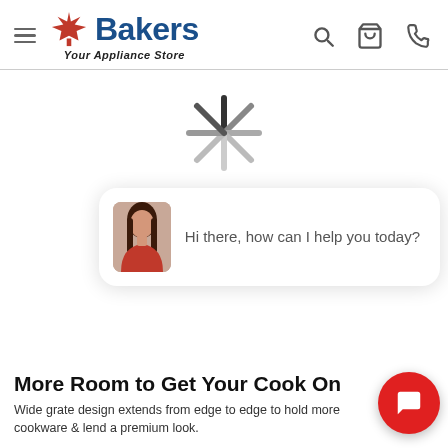Bakers Your Appliance Store — navigation header with hamburger menu, logo, search, cart, and phone icons
[Figure (illustration): Loading spinner graphic (asterisk/starburst with dark and light spokes) indicating page content loading]
[Figure (screenshot): Chat widget popup showing a female assistant avatar and text: 'Hi there, how can I help you today?']
More Room to Get Your Cook On
Wide grate design extends from edge to edge to hold more cookware & lend a premium look.